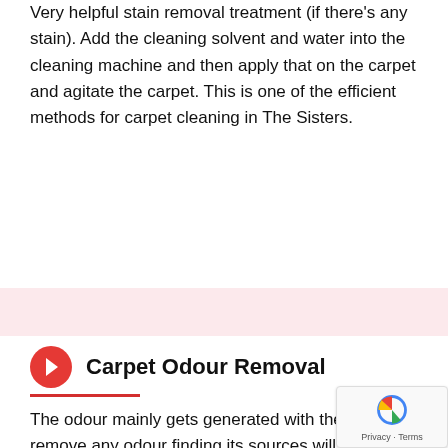Very helpful stain removal treatment (if there's any stain). Add the cleaning solvent and water into the cleaning machine and then apply that on the carpet and agitate the carpet. This is one of the efficient methods for carpet cleaning in The Sisters.
Carpet Odour Removal
The odour mainly gets generated with the stain. To remove any odour finding its sources will be helpful in easy removal. The treatment depends upon the sources as they have different chemical combinations and values. Get professionals from as you will find the team of experts for this servic Our team is highly experienced in Odour Remova